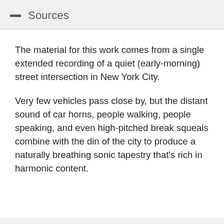Sources
The material for this work comes from a single extended recording of a quiet (early-morning) street intersection in New York City.
Very few vehicles pass close by, but the distant sound of car horns, people walking, people speaking, and even high-pitched break squeals combine with the din of the city to produce a naturally breathing sonic tapestry that's rich in harmonic content.